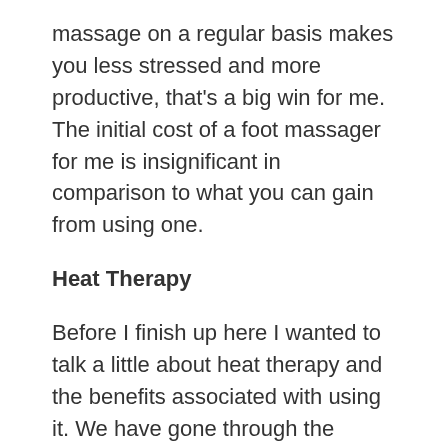massage on a regular basis makes you less stressed and more productive, that's a big win for me. The initial cost of a foot massager for me is insignificant in comparison to what you can gain from using one.
Heat Therapy
Before I finish up here I wanted to talk a little about heat therapy and the benefits associated with using it. We have gone through the benefits of using a foot massager, now I wanted to quickly look at infrared health.
Being a site that talks about infrared therapy and what it can do for you. I thought it might be a good idea to add this into the conversation